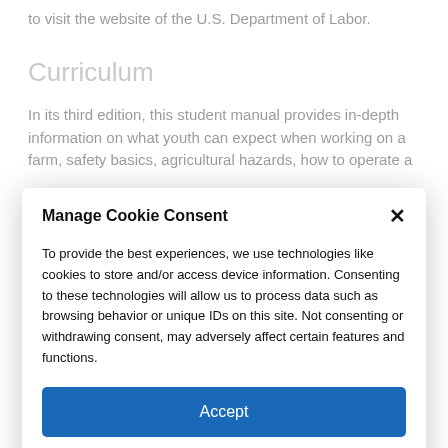to visit the website of the U.S. Department of Labor.
Curriculum
In its third edition, this student manual provides in-depth information on what youth can expect when working on a farm, safety basics, agricultural hazards, how to operate a
Manage Cookie Consent
To provide the best experiences, we use technologies like cookies to store and/or access device information. Consenting to these technologies will allow us to process data such as browsing behavior or unique IDs on this site. Not consenting or withdrawing consent, may adversely affect certain features and functions.
Accept
Cookie Policy  Privacy Statement